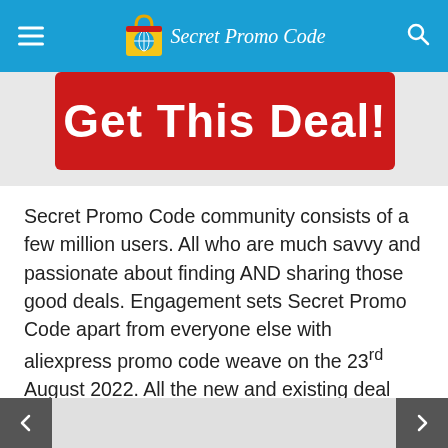SecretPromoCode - navigation header with hamburger menu and search icon
[Figure (illustration): Red banner button with white bold text reading 'Get This Deal!']
Secret Promo Code community consists of a few million users. All who are much savvy and passionate about finding AND sharing those good deals. Engagement sets Secret Promo Code apart from everyone else with aliexpress promo code weave on the 23rd August 2022. All the new and existing deal online are posted and reviewed by the entire community. Our expert team of deal hunters has wide experience and deep category
< previous | > next navigation arrows